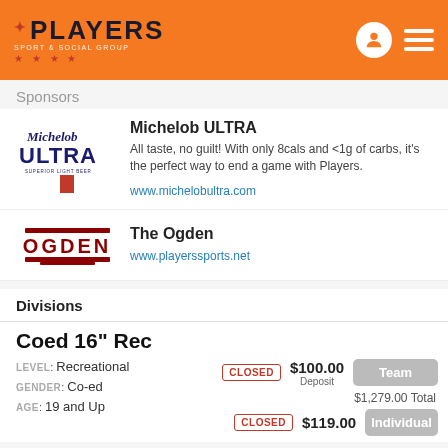[Figure (logo): Players Sport & Social Group logo with orange header background, person icon and hamburger menu]
Sponsors
[Figure (logo): Michelob ULTRA logo]
Michelob ULTRA
All taste, no guilt! With only 8cals and <1g of carbs, it's the perfect way to end a game with Players.
www.michelobultra.com
[Figure (logo): The Ogden logo in red]
The Ogden
www.playerssports.net
Divisions
Coed 16" Rec
LEVEL: Recreational
GENDER: Co-ed
AGE: 19 and Up
CLOSED  $100.00 Deposit  Team  $1,279.00 Total
CLOSED  $119.00  Individual